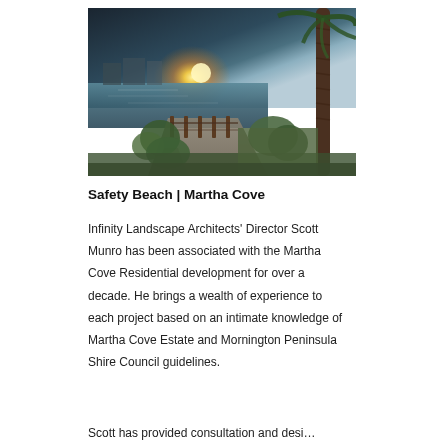[Figure (photo): Waterfront boardwalk at sunset with palm tree on the right, wooden fence posts along the path, and a golden sun glow over the water. Martha Cove, Safety Beach.]
Safety Beach | Martha Cove
Infinity Landscape Architects' Director Scott Munro has been associated with the Martha Cove Residential development for over a decade. He brings a wealth of experience to each project based on an intimate knowledge of Martha Cove Estate and Mornington Peninsula Shire Council guidelines.
Scott has provided consultation and desi…